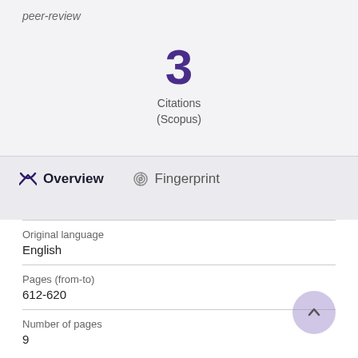peer-review
3
Citations
(Scopus)
Overview
Fingerprint
| Field | Value |
| --- | --- |
| Original language | English |
| Pages (from-to) | 612-620 |
| Number of pages | 9 |